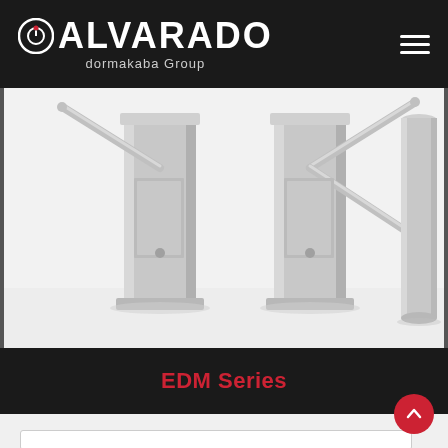ALVARADO dormakaba Group
[Figure (photo): Close-up photo of Alvarado EDM Series tripod turnstiles — two stainless steel turnstile pedestals with extended rotor arms visible against a white background, alongside a cylindrical post on the right.]
EDM Series